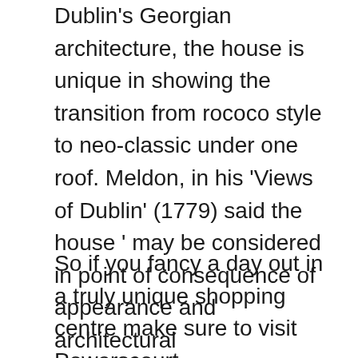Dublin's Georgian architecture, the house is unique in showing the transition from rococo style to neo-classic under one roof. Meldon, in his 'Views of Dublin' (1779) said the house ' may be considered in point of consequence of appearance and architectural embellishment, as the third private edifice in Dublin.' With its historic past the centre's architecture serves as a magnificent setting for browser's and shoppers alike. The house has become a regular test for students of architecture.
So if you fancy a day out in a truly unique shopping centre make sure to visit Powerscourt #centrelikenoother